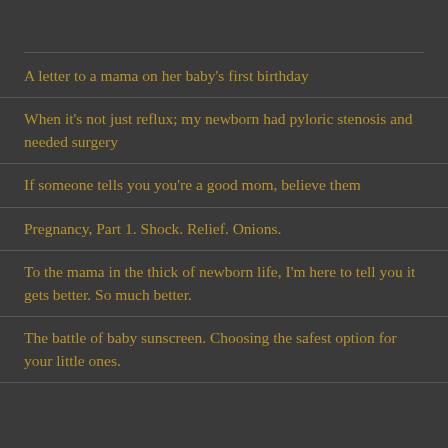A letter to a mama on her baby's first birthday
When it's not just reflux; my newborn had pyloric stenosis and needed surgery
If someone tells you you're a good mom, believe them
Pregnancy, Part 1. Shock. Relief. Onions.
To the mama in the thick of newborn life, I'm here to tell you it gets better. So much better.
The battle of baby sunscreen. Choosing the safest option for your little ones.